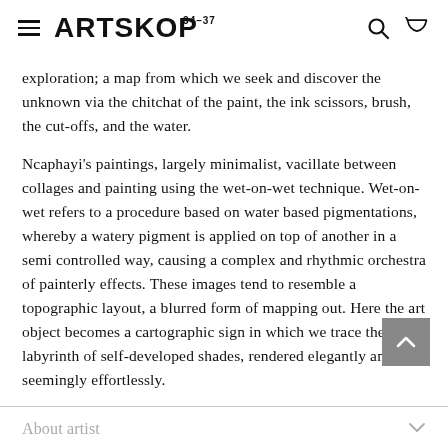ARTSKOP 34-37
exploration; a map from which we seek and discover the unknown via the chitchat of the paint, the ink scissors, brush, the cut-offs, and the water.
Ncaphayi’s paintings, largely minimalist, vacillate between collages and painting using the wet-on-wet technique. Wet-on-wet refers to a procedure based on water based pigmentations, whereby a watery pigment is applied on top of another in a semi controlled way, causing a complex and rhythmic orchestra of painterly effects. These images tend to resemble a topographic layout, a blurred form of mapping out. Here the art object becomes a cartographic sign in which we trace the labyrinth of self-developed shades, rendered elegantly and seemingly effortlessly.
About artist
About Gallery